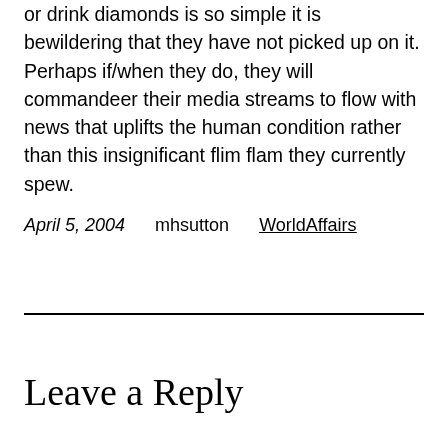or drink diamonds is so simple it is bewildering that they have not picked up on it. Perhaps if/when they do, they will commandeer their media streams to flow with news that uplifts the human condition rather than this insignificant flim flam they currently spew.
April 5, 2004    mhsutton    WorldAffairs
Leave a Reply